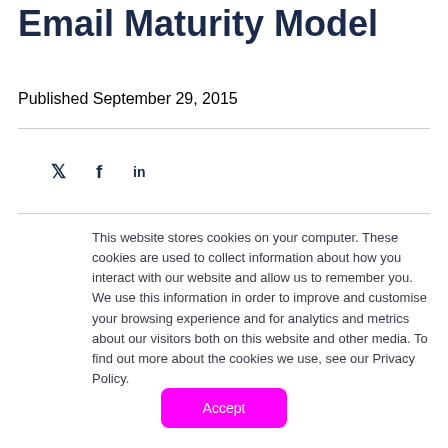Email Maturity Model
Published September 29, 2015
[Figure (other): Social media share icons: Twitter (bird/y), Facebook (f), LinkedIn (in)]
This website stores cookies on your computer. These cookies are used to collect information about how you interact with our website and allow us to remember you. We use this information in order to improve and customise your browsing experience and for analytics and metrics about our visitors both on this website and other media. To find out more about the cookies we use, see our Privacy Policy.
Accept